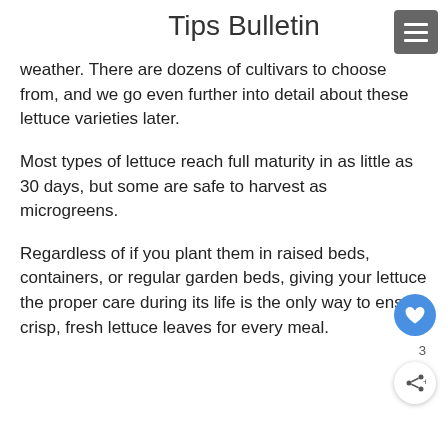Tips Bulletin
weather. There are dozens of cultivars to choose from, and we go even further into detail about these lettuce varieties later.
Most types of lettuce reach full maturity in as little as 30 days, but some are safe to harvest as microgreens.
Regardless of if you plant them in raised beds, containers, or regular garden beds, giving your lettuce the proper care during its life is the only way to ensure crisp, fresh lettuce leaves for every meal.